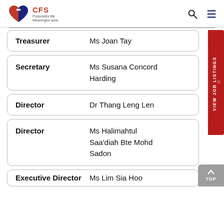CFS - Purposeful life, Meaningful work
| Role | Name |
| --- | --- |
| Treasurer | Ms Joan Tay |
| Secretary | Ms Susana Concord Harding |
| Director | Dr Thang Leng Len |
| Director | Ms Halimahtul Saa'diah Bte Mohd Sadon |
| Executive Director | Ms Lim Sia Hoo |